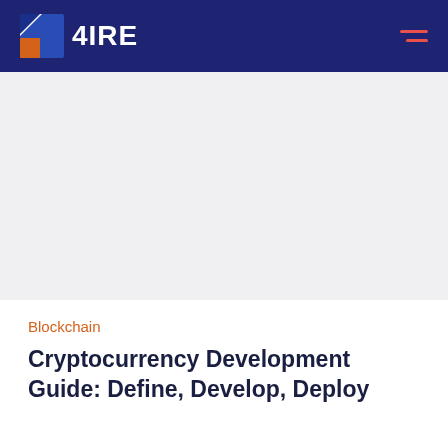4IRE
[Figure (photo): Large white/light gray blank image area below the navigation header, occupying most of the page]
Blockchain
Cryptocurrency Development Guide: Define, Develop, Deploy